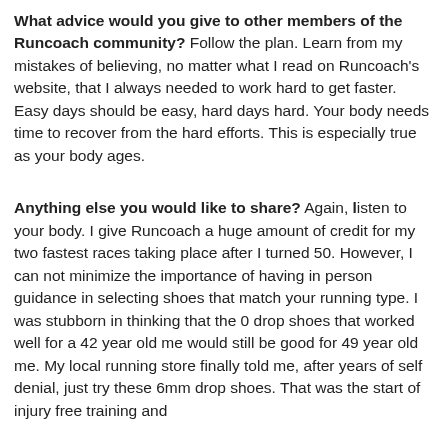What advice would you give to other members of the Runcoach community? Follow the plan. Learn from my mistakes of believing, no matter what I read on Runcoach's website, that I always needed to work hard to get faster. Easy days should be easy, hard days hard. Your body needs time to recover from the hard efforts. This is especially true as your body ages.
Anything else you would like to share? Again, listen to your body. I give Runcoach a huge amount of credit for my two fastest races taking place after I turned 50. However, I can not minimize the importance of having in person guidance in selecting shoes that match your running type. I was stubborn in thinking that the 0 drop shoes that worked well for a 42 year old me would still be good for 49 year old me. My local running store finally told me, after years of self denial, just try these 6mm drop shoes. That was the start of injury free training and